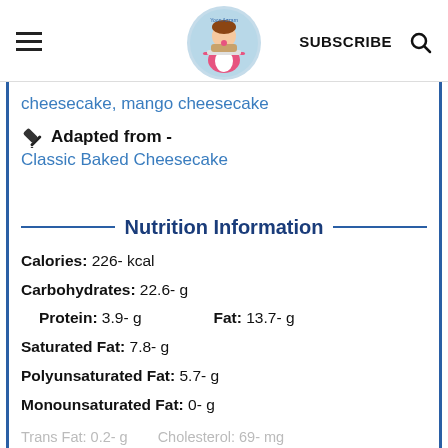SUBSCRIBE
cheesecake, mango cheesecake
Adapted from - Classic Baked Cheesecake
Nutrition Information
Calories: 226- kcal
Carbohydrates: 22.6- g
Protein: 3.9- g   Fat: 13.7- g
Saturated Fat: 7.8- g
Polyunsaturated Fat: 5.7- g
Monounsaturated Fat: 0- g
Trans Fat: 0.2- g   Cholesterol: 69- mg
Sodium: 185- mg   Potassium: 0- mg